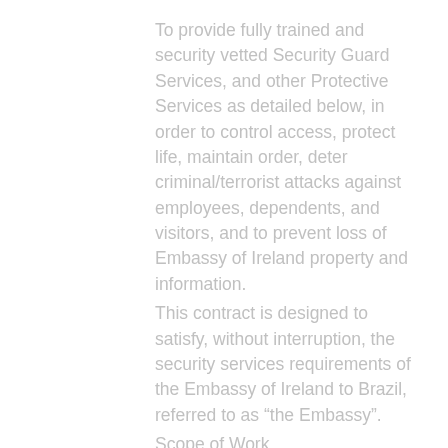To provide fully trained and security vetted Security Guard Services, and other Protective Services as detailed below, in order to control access, protect life, maintain order, deter criminal/terrorist attacks against employees, dependents, and visitors, and to prevent loss of Embassy of Ireland property and information.
This contract is designed to satisfy, without interruption, the security services requirements of the Embassy of Ireland to Brazil, referred to as “the Embassy”.
Scope of Work
The Contractor will provide site security to limit the ability of threats/actors to access or negatively impact the Embassy’s assets. This will include the provision of a security guard force which